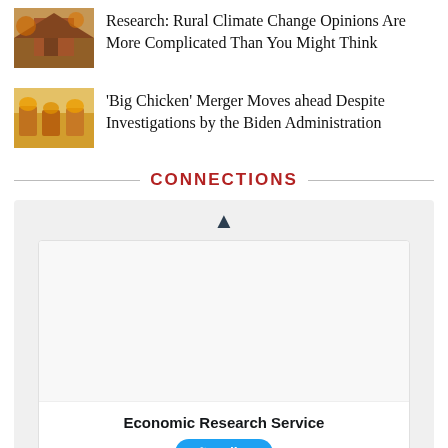Research: Rural Climate Change Opinions Are More Complicated Than You Might Think
[Figure (photo): Thumbnail photo of a house exterior with orange foliage]
'Big Chicken' Merger Moves ahead Despite Investigations by the Biden Administration
[Figure (photo): Thumbnail photo of chickens in a store display]
CONNECTIONS
[Figure (screenshot): Twitter/social media widget showing Economic Research Service profile with Follow button and beginning of a post: 'Join us for a webinar Thursday, September 1 at 1:00 PM ET. ERS Economist Carrie Litkowski...']